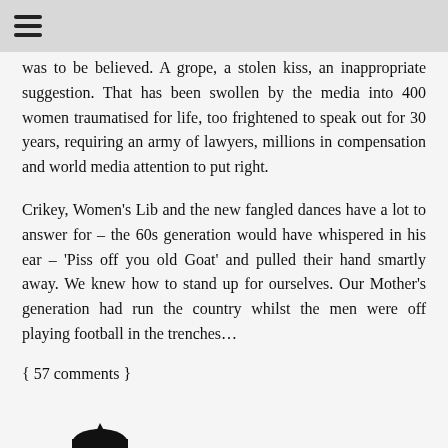≡
was to be believed. A grope, a stolen kiss, an inappropriate suggestion. That has been swollen by the media into 400 women traumatised for life, too frightened to speak out for 30 years, requiring an army of lawyers, millions in compensation and world media attention to put right.
Crikey, Women's Lib and the new fangled dances have a lot to answer for – the 60s generation would have whispered in his ear – 'Piss off you old Goat' and pulled their hand smartly away. We knew how to stand up for ourselves. Our Mother's generation had run the country whilst the men were off playing football in the trenches…
{ 57 comments }
[Figure (illustration): Cartoon illustration of Fred Flintstone character]
UK Fred